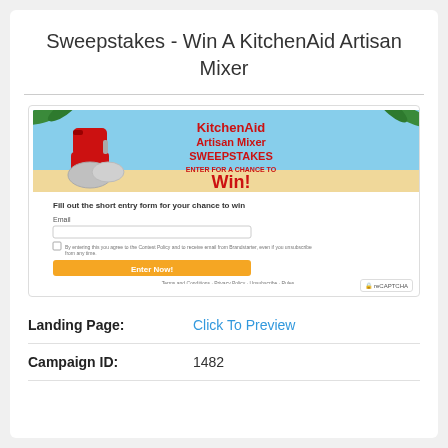Sweepstakes - Win A KitchenAid Artisan Mixer
[Figure (screenshot): Screenshot of a sweepstakes landing page featuring a red KitchenAid Artisan Mixer against a beach background with text 'KitchenAid Artisan Mixer SWEEPSTAKES ENTER FOR A CHANCE TO Win!' and an entry form with email field, checkbox, and orange 'Enter Now!' button]
Landing Page:
Click To Preview
Campaign ID:
1482